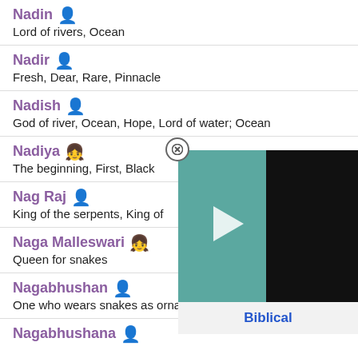Nadin | Lord of rivers, Ocean
Nadir | Fresh, Dear, Rare, Pinnacle
Nadish | God of river, Ocean, Hope, Lord of water; Ocean
Nadiya | The beginning, First, Black
Nag Raj | King of the serpents, King of
Naga Malleswari | Queen for snakes
Nagabhushan | One who wears snakes as ornaments, Lord Shiva
Nagabhushana
[Figure (screenshot): Video overlay showing a teal and black background with a play button and 'Biblical' text label at the bottom, with a close (X) button]